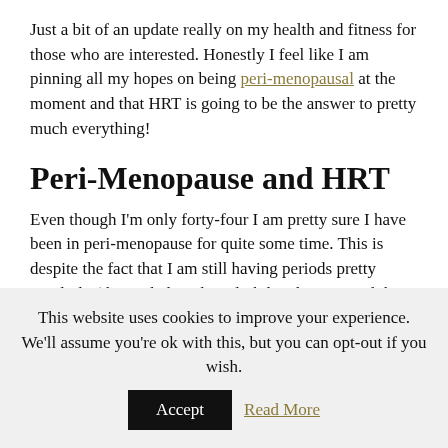Just a bit of an update really on my health and fitness for those who are interested. Honestly I feel like I am pinning all my hopes on being peri-menopausal at the moment and that HRT is going to be the answer to pretty much everything!
Peri-Menopause and HRT
Even though I'm only forty-four I am pretty sure I have been in peri-menopause for quite some time. This is despite the fact that I am still having periods pretty regularly (the cycle length is slightly adjusting and the worst was 9 days late) and am not suffering from hot flushes: Although anyone who knows me will be able to confirm that
This website uses cookies to improve your experience. We'll assume you're ok with this, but you can opt-out if you wish. [Accept] [Read More]